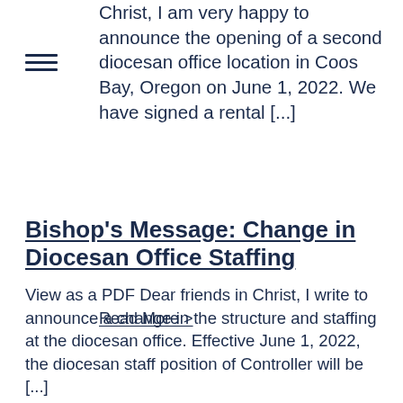[Figure (other): Hamburger menu icon with three horizontal lines]
Christ,  I am very happy to announce the opening of a second diocesan office location in Coos Bay, Oregon on June 1, 2022.  We have signed a rental [...]
Read More >
Bishop's Message: Change in Diocesan Office Staffing
View as a PDF Dear friends in Christ, I write to announce a change in the structure and staffing at the diocesan office. Effective June 1, 2022, the diocesan staff position of Controller will be [...]
Read More >